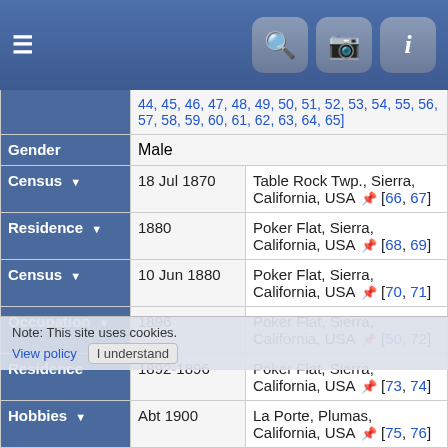App header with hamburger menu and search/camera/info icons
| Label | Date/Value | Place/Detail |
| --- | --- | --- |
|  | [44, 45, 46, 47, 48, 49, 50, 51, 52, 53, 54, 55, 56, 57, 58, 59, 60, 61, 62, 63, 64, 65] |  |
| Gender | Male |  |
| Census | 18 Jul 1870 | Table Rock Twp., Sierra, California, USA [66, 67] |
| Residence | 1880 | Poker Flat, Sierra, California, USA [68, 69] |
| Census | 10 Jun 1880 | Poker Flat, Sierra, California, USA [70, 71] |
| Occupation | 1896 | Poker Flat, Sierra, California, USA [50, 72] |
| Residence | 1892-1896 | Poker Flat, Sierra, California, USA [73, 74] |
| Hobbies | Abt 1900 | La Porte, Plumas, California, USA [75, 76] |
| Occupation | 1900 | Table Rock Twp., Sierra, California, USA [77, 78] |
| Residence | 1900 | Table Rock Twp., Sierra, California, USA [79, 80, 81] |
Note: This site uses cookies. View policy. I understand.